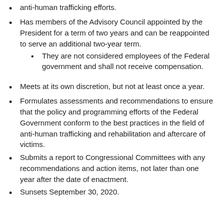anti-human trafficking efforts.
Has members of the Advisory Council appointed by the President for a term of two years and can be reappointed to serve an additional two-year term.
They are not considered employees of the Federal government and shall not receive compensation.
Meets at its own discretion, but not at least once a year.
Formulates assessments and recommendations to ensure that the policy and programming efforts of the Federal Government conform to the best practices in the field of anti-human trafficking and rehabilitation and aftercare of victims.
Submits a report to Congressional Committees with any recommendations and action items, not later than one year after the date of enactment.
Sunsets September 30, 2020.